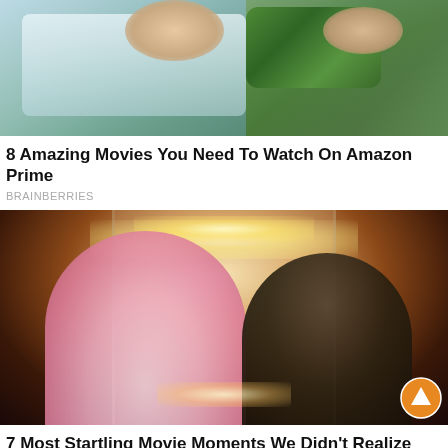[Figure (photo): Movie still showing two people in colorful costumes, one in a green patterned outfit and white jacket, teal/blue-tinted background]
8 Amazing Movies You Need To Watch On Amazon Prime
BRAINBERRIES
[Figure (photo): Romantic movie still showing a young woman in a pink dress and a young man leaning over a birthday cake with candles, warm dim interior lighting with chandelier]
7 Most Startling Movie Moments We Didn't Realize Were Insensitive
HERBEAUTY